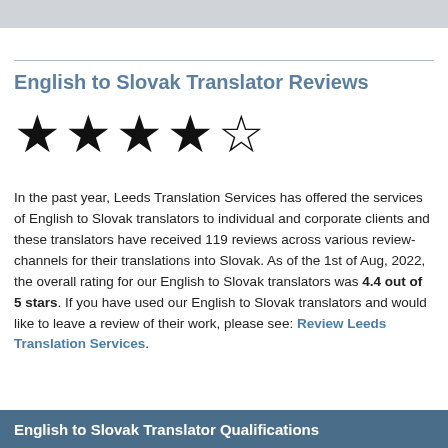English to Slovak Translator Reviews
[Figure (other): 4 filled stars and 1 empty star rating graphic]
In the past year, Leeds Translation Services has offered the services of English to Slovak translators to individual and corporate clients and these translators have received 119 reviews across various review-channels for their translations into Slovak. As of the 1st of Aug, 2022, the overall rating for our English to Slovak translators was 4.4 out of 5 stars. If you have used our English to Slovak translators and would like to leave a review of their work, please see: Review Leeds Translation Services.
English to Slovak Translator Qualifications